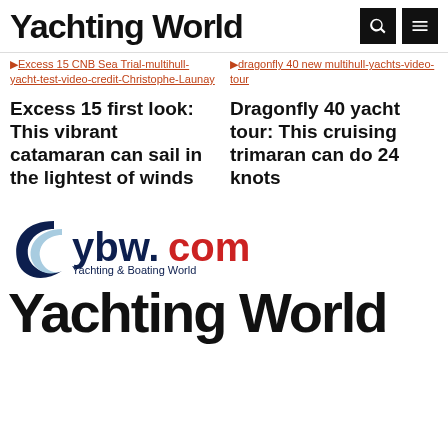Yachting World
Excess 15 CNB Sea Trial-multihull-yacht-test-video-credit-Christophe-Launay
dragonfly 40 new multihull-yachts-video-tour
Excess 15 first look: This vibrant catamaran can sail in the lightest of winds
Dragonfly 40 yacht tour: This cruising trimaran can do 24 knots
[Figure (logo): ybw.com Yachting & Boating World logo with wave icon]
[Figure (logo): Yachting World large bold text logo]